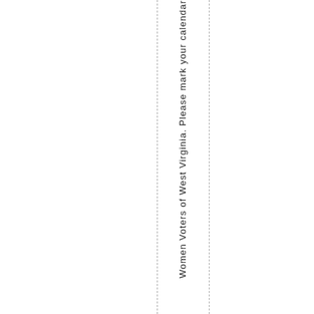Women Voters of West Virginia. Please mark your calendar